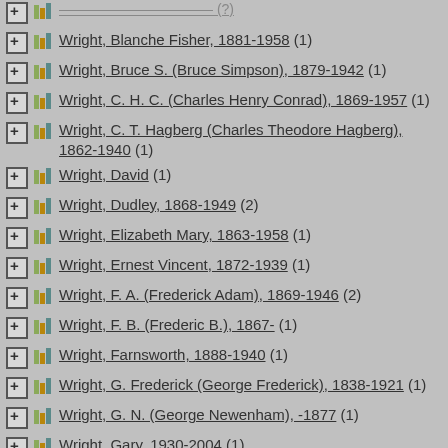Wright, Blanche Fisher, 1881-1958 (1)
Wright, Bruce S. (Bruce Simpson), 1879-1942 (1)
Wright, C. H. C. (Charles Henry Conrad), 1869-1957 (1)
Wright, C. T. Hagberg (Charles Theodore Hagberg), 1862-1940 (1)
Wright, David (1)
Wright, Dudley, 1868-1949 (2)
Wright, Elizabeth Mary, 1863-1958 (1)
Wright, Ernest Vincent, 1872-1939 (1)
Wright, F. A. (Frederick Adam), 1869-1946 (2)
Wright, F. B. (Frederic B.), 1867- (1)
Wright, Farnsworth, 1888-1940 (1)
Wright, G. Frederick (George Frederick), 1838-1921 (1)
Wright, G. N. (George Newenham), -1877 (1)
Wright, Gary, 1930-2004 (1)
Wright, Harold Bell, 1872-1944 (11)